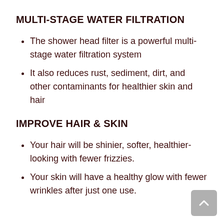MULTI-STAGE WATER FILTRATION
The shower head filter is a powerful multi-stage water filtration system
It also reduces rust, sediment, dirt, and other contaminants for healthier skin and hair
IMPROVE HAIR & SKIN
Your hair will be shinier, softer, healthier-looking with fewer frizzies.
Your skin will have a healthy glow with fewer wrinkles after just one use.